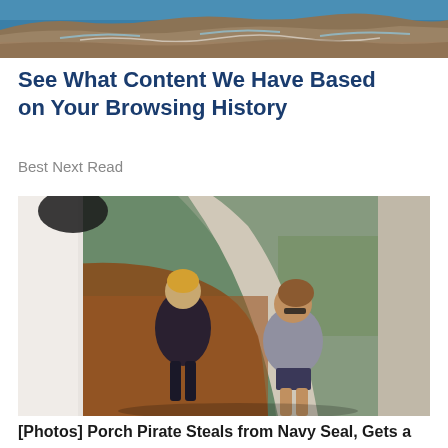[Figure (photo): Aerial view of rocky coastline with ocean waves and blue water]
See What Content We Have Based on Your Browsing History
Best Next Read
[Figure (photo): Security camera footage showing two women walking toward a front door/porch, one in dark clothes and one in a gray top and dark shorts, with landscaped yard visible in background]
[Photos] Porch Pirate Steals from Navy Seal, Gets a